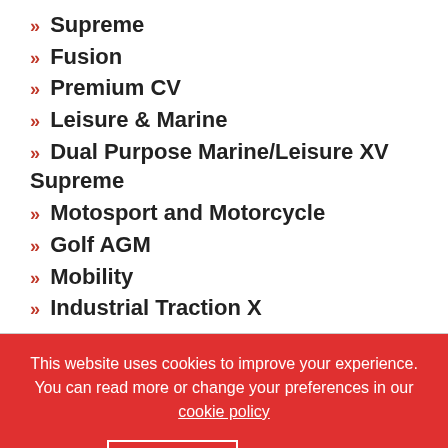» Supreme
» Fusion
» Premium CV
» Leisure & Marine
» Dual Purpose Marine/Leisure XV Supreme
» Motosport and Motorcycle
» Golf AGM
» Mobility
» Industrial Traction X
This website uses cookies to improve your experience. You can read more or change your preferences in our cookie policy
Accept  Reject